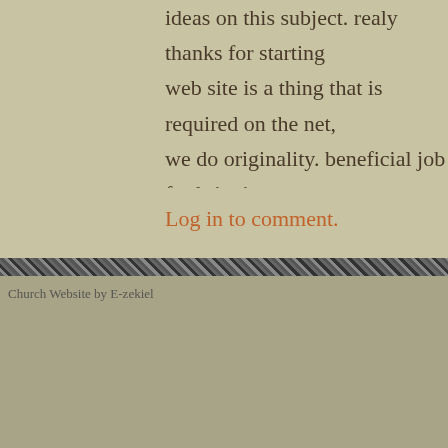ideas on this subject. realy thanks for starting web site is a thing that is required on the net, we do originality. beneficial job for bringing new to the internet! sexybaccarat
Log in to comment.
Church Website by E-zekiel